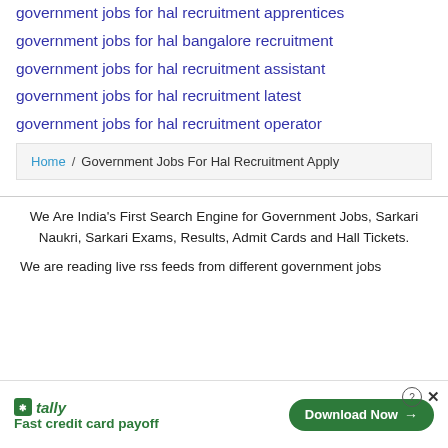government jobs for hal recruitment apprentices
government jobs for hal bangalore recruitment
government jobs for hal recruitment assistant
government jobs for hal recruitment latest
government jobs for hal recruitment operator
Home / Government Jobs For Hal Recruitment Apply
We Are India's First Search Engine for Government Jobs, Sarkari Naukri, Sarkari Exams, Results, Admit Cards and Hall Tickets.
We are reading live rss feeds from different government jobs
[Figure (infographic): Advertisement banner for Tally app: Fast credit card payoff with Download Now button]